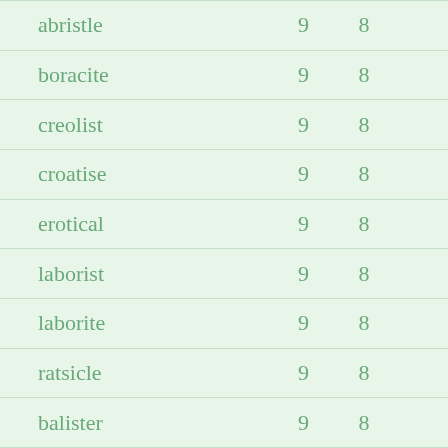| abristle | 9 | 8 |
| boracite | 9 | 8 |
| creolist | 9 | 8 |
| croatise | 9 | 8 |
| erotical | 9 | 8 |
| laborist | 9 | 8 |
| laborite | 9 | 8 |
| ratsicle | 9 | 8 |
| balister | 9 | 8 |